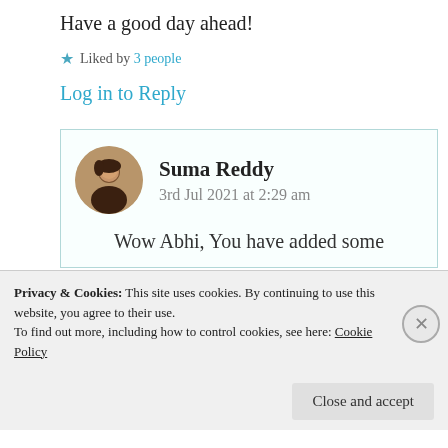Have a good day ahead!
★ Liked by 3 people
Log in to Reply
[Figure (photo): Circular avatar photo of Suma Reddy]
Suma Reddy
3rd Jul 2021 at 2:29 am
Wow Abhi, You have added some
Privacy & Cookies: This site uses cookies. By continuing to use this website, you agree to their use.
To find out more, including how to control cookies, see here: Cookie Policy
Close and accept